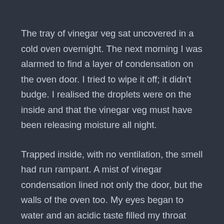The tray of vinegar veg sat uncovered in a cold oven overnight. The next morning I was alarmed to find a layer of condensation on the oven door. I tried to wipe it off; it didn’t budge. I realised the droplets were on the inside and that the vinegar veg must have been releasing moisture all night.
Trapped inside, with no ventilation, the smell had run rampant. A mist of vinegar condensation lined not only the door, but the walls of the oven too. My eyes began to water and an acidic taste filled my throat with each breath that made me splutter.
I had four hours to clear the smell. Every window